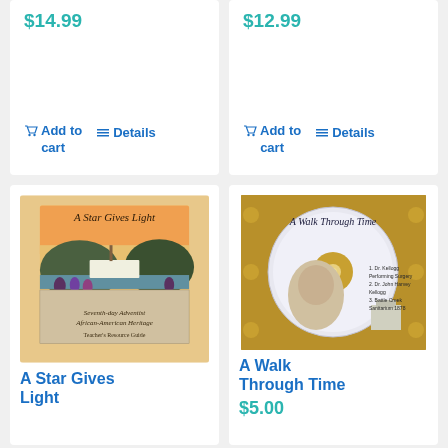$14.99
Add to cart  Details
$12.99
Add to cart  Details
[Figure (illustration): Book cover: A Star Gives Light - Seventh-day Adventist African-American Heritage Teacher's Resource Guide. Shows a riverboat scene with people gathered on shore.]
A Star Gives Light
[Figure (photo): CD case for 'A Walk Through Time' featuring a CD with an elderly man's portrait and a historical building, with text listing: 1. Dr. Kellogg Performing Surgery, 2. Dr. John Harvey Kellogg, 3. Battle Creek Sanitarium 1878]
A Walk Through Time
$5.00